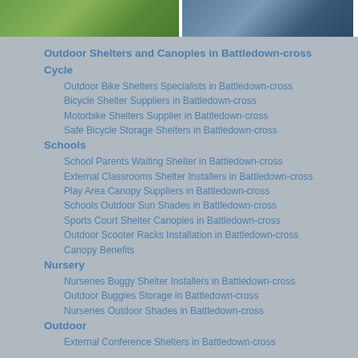[Figure (photo): Two photos side by side: left shows green grass/outdoor area, right shows a person in blue-toned outdoor setting]
Outdoor Shelters and Canopies in Battledown-cross
Cycle
Outdoor Bike Shelters Specialists in Battledown-cross
Bicycle Shelter Suppliers in Battledown-cross
Motorbike Shelters Supplier in Battledown-cross
Safe Bicycle Storage Shelters in Battledown-cross
Schools
School Parents Waiting Shelter in Battledown-cross
External Classrooms Shelter Installers in Battledown-cross
Play Area Canopy Suppliers in Battledown-cross
Schools Outdoor Sun Shades in Battledown-cross
Sports Court Shelter Canopies in Battledown-cross
Outdoor Scooter Racks Installation in Battledown-cross
Canopy Benefits
Nursery
Nurseries Buggy Shelter Installers in Battledown-cross
Outdoor Buggies Storage in Battledown-cross
Nurseries Outdoor Shades in Battledown-cross
Outdoor
External Conference Shelters in Battledown-cross